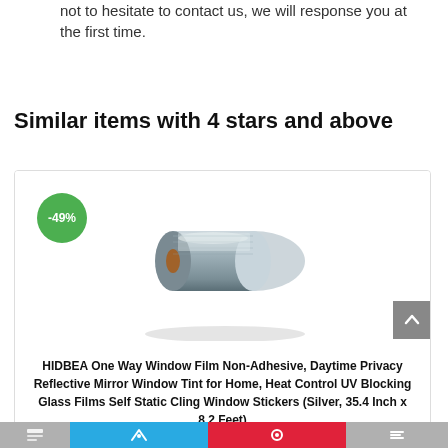not to hesitate to contact us, we will response you at the first time.
Similar items with 4 stars and above
[Figure (photo): A roll of silver reflective window film with a brown cardboard core, shown on a white background inside a product card. A green discount badge showing -49% is in the top left of the card.]
HIDBEA One Way Window Film Non-Adhesive, Daytime Privacy Reflective Mirror Window Tint for Home, Heat Control UV Blocking Glass Films Self Static Cling Window Stickers (Silver, 35.4 Inch x 8.2 Feet)